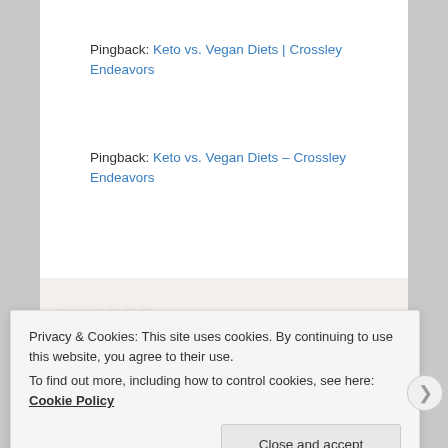Pingback: Keto vs. Vegan Diets | Crossley Endeavors
Pingback: Keto vs. Vegan Diets – Crossley Endeavors
[Figure (screenshot): Ad or promotional image showing text 'the front...' on light background above, and 'WordPress in the back.' on orange/pink gradient background below]
Privacy & Cookies: This site uses cookies. By continuing to use this website, you agree to their use.
To find out more, including how to control cookies, see here: Cookie Policy
Close and accept